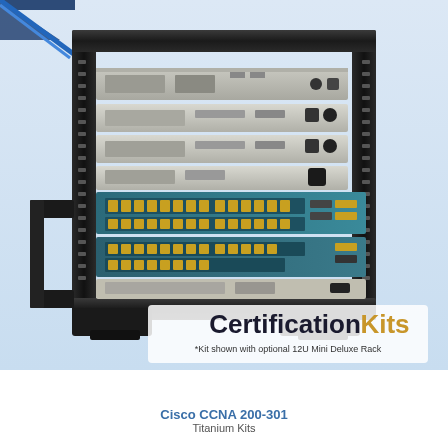[Figure (photo): Photo of a black 12U mini deluxe rack containing Cisco network equipment including routers, switches (teal/blue Catalyst switches visible), mounted in a desktop rack. The CertificationKits branding logo and tagline '*Kit shown with optional 12U Mini Deluxe Rack' appears overlaid at the bottom right of the image. A partial star/logo graphic appears in the top-left corner.]
Cisco CCNA 200-301
Titanium Kits